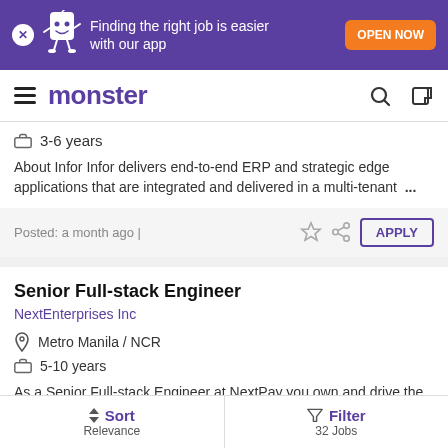[Figure (screenshot): Monster job board app promotion banner with purple background, mascot, and orange OPEN NOW button]
monster
3-6 years
About Infor Infor delivers end-to-end ERP and strategic edge applications that are integrated and delivered in a multi-tenant ...
Posted: a month ago |
Senior Full-stack Engineer
NextEnterprises Inc
Metro Manila / NCR
5-10 years
As a Senior Full-stack Engineer at NextPay you own and drive the
Sort Relevance | Filter 32 Jobs